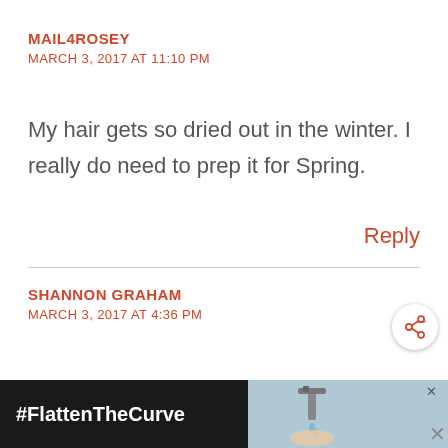MAIL4ROSEY
MARCH 3, 2017 AT 11:10 PM
My hair gets so dried out in the winter. I really do need to prep it for Spring.
Reply
SHANNON GRAHAM
MARCH 3, 2017 AT 4:36 PM
#FlattenTheCurve